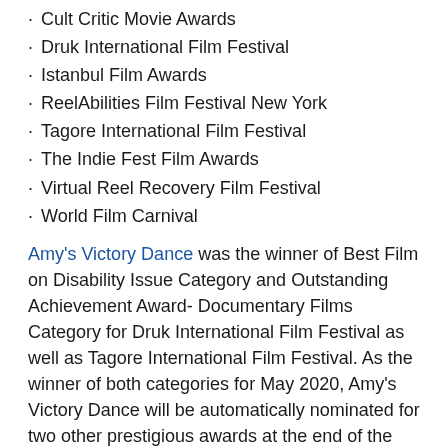Cult Critic Movie Awards
Druk International Film Festival
Istanbul Film Awards
ReelAbilities Film Festival New York
Tagore International Film Festival
The Indie Fest Film Awards
Virtual Reel Recovery Film Festival
World Film Carnival
Amy's Victory Dance was the winner of Best Film on Disability Issue Category and Outstanding Achievement Award- Documentary Films Category for Druk International Film Festival as well as Tagore International Film Festival. As the winner of both categories for May 2020, Amy's Victory Dance will be automatically nominated for two other prestigious awards at the end of the year. Cult Critic Movie Awards voted Amy's Victory Dance the winner of Documentary Films Category, Films on Disability